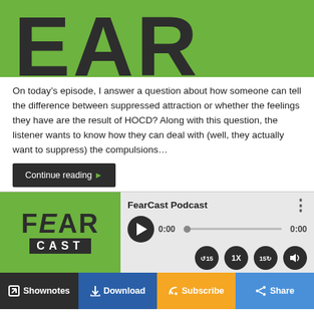[Figure (logo): FearCast podcast banner with large green background and dark text showing partial letters 'EAR']
On today’s episode, I answer a question about how someone can tell the difference between suppressed attraction or whether the feelings they have are the result of HOCD? Along with this question, the listener wants to know how they can deal with (well, they actually want to suppress) the compulsions…
Continue reading ►
[Figure (screenshot): FearCast Podcast audio player widget with logo, play button, progress bar, time 0:00, and playback controls including 15s rewind, 1X speed, 15s forward, and volume]
[Figure (infographic): Podcast action bar with four buttons: Shownotes, Download, Subscribe, Share]
Podcast: Play in new window | Download
Subscribe: Apple Podcasts | RSS